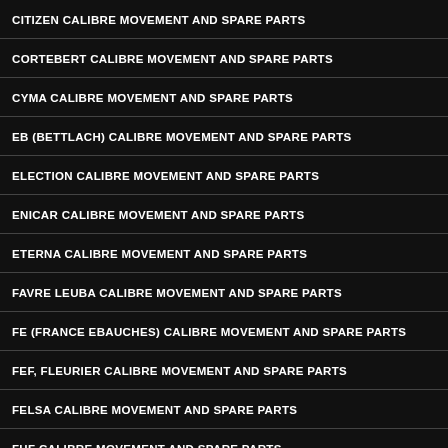CITIZEN CALIBRE MOVEMENT AND SPARE PARTS
CORTEBERT CALIBRE MOVEMENT AND SPARE PARTS
CYMA CALIBRE MOVEMENT AND SPARE PARTS
EB (BETTLACH) CALIBRE MOVEMENT AND SPARE PARTS
ELECTION CALIBRE MOVEMENT AND SPARE PARTS
ENICAR CALIBRE MOVEMENT AND SPARE PARTS
ETERNA CALIBRE MOVEMENT AND SPARE PARTS
FAVRE LEUBA CALIBRE MOVEMENT AND SPARE PARTS
FE (FRANCE EBAUCHES) CALIBRE MOVEMENT AND SPARE PARTS
FEF, FLEURIER CALIBRE MOVEMENT AND SPARE PARTS
FELSA CALIBRE MOVEMENT AND SPARE PARTS
FHF CALIBRE MOVEMENT AND SPARE PARTS
GIRARD-PERREGAUX CALIBRE MOVEMENT AND SPARE PARTS